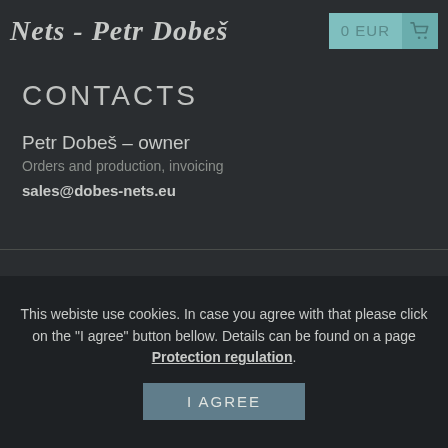Nets - Petr Dobeš | 0 EUR
CONTACTS
Petr Dobeš – owner
Orders and production, invoicing
sales@dobes-nets.eu
© 2022 Nets - Petr Dobes
designed by illusmart
This webiste use cookies. In case you agree with that please click on the "I agree" button bellow. Details can be found on a page Protection regulation.